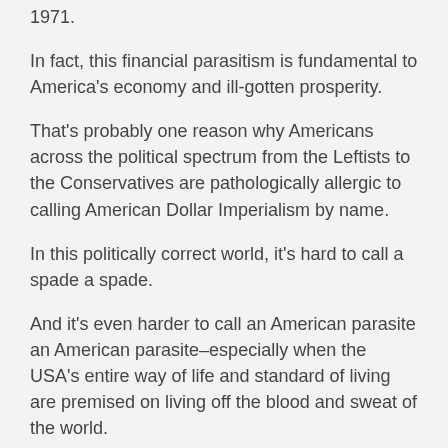1971.
In fact, this financial parasitism is fundamental to America's economy and ill-gotten prosperity.
That's probably one reason why Americans across the political spectrum from the Leftists to the Conservatives are pathologically allergic to calling American Dollar Imperialism by name.
In this politically correct world, it's hard to call a spade a spade.
And it's even harder to call an American parasite an American parasite–especially when the USA's entire way of life and standard of living are premised on living off the blood and sweat of the world.
America: Host or Parasite?
http://michael-hudson.com/2007/03/america-host-or-parasite/